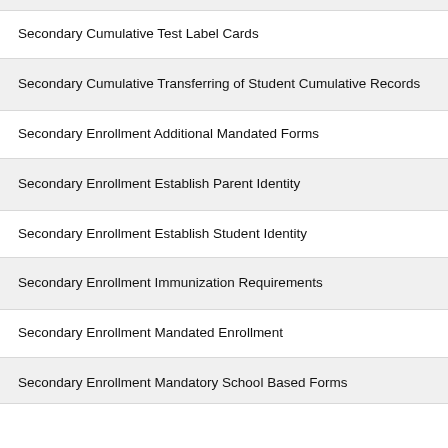Secondary Cumulative Test Label Cards
Secondary Cumulative Transferring of Student Cumulative Records
Secondary Enrollment Additional Mandated Forms
Secondary Enrollment Establish Parent Identity
Secondary Enrollment Establish Student Identity
Secondary Enrollment Immunization Requirements
Secondary Enrollment Mandated Enrollment
Secondary Enrollment Mandatory School Based Forms